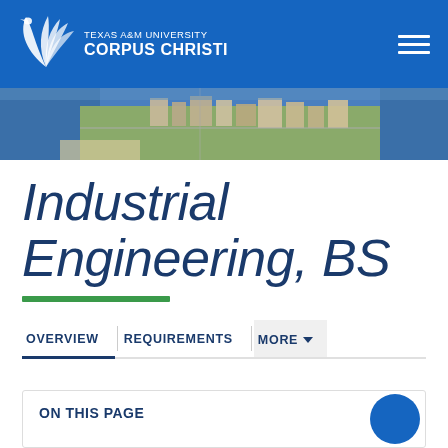Texas A&M University Corpus Christi
[Figure (photo): Aerial photograph of Texas A&M University Corpus Christi campus showing coast and buildings]
Industrial Engineering, BS
OVERVIEW | REQUIREMENTS | MORE
ON THIS PAGE